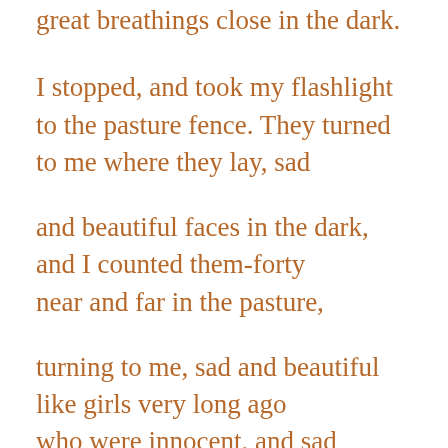great breathings close in the dark.
I stopped, and took my flashlight
to the pasture fence. They turned
to me where they lay, sad
and beautiful faces in the dark,
and I counted them-forty
near and far in the pasture,
turning to me, sad and beautiful
like girls very long ago
who were innocent, and sad
because they were innocent,
and beautiful because they were